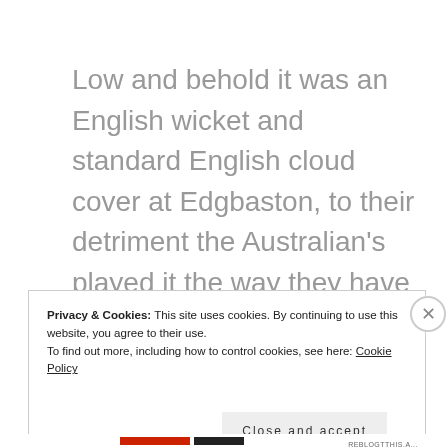Low and behold it was an English wicket and standard English cloud cover at Edgbaston, to their detriment the Australian's played it the way they have been playing on seamer-friendly wickets far too often on their recent travels – very badly. Advantage England.
Privacy & Cookies: This site uses cookies. By continuing to use this website, you agree to their use.
To find out more, including how to control cookies, see here: Cookie Policy